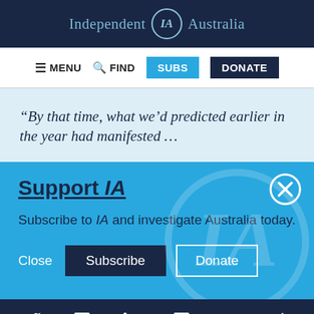Independent IA Australia
≡ MENU  🔍 FIND  SUBS  DONATE
“By that time, what we’d predicted earlier in the year had manifested …
Support IA
Subscribe to IA and investigate Australia today.
Close  Subscribe  Donate
Twitter  Facebook  LinkedIn  Flipboard  Share  More